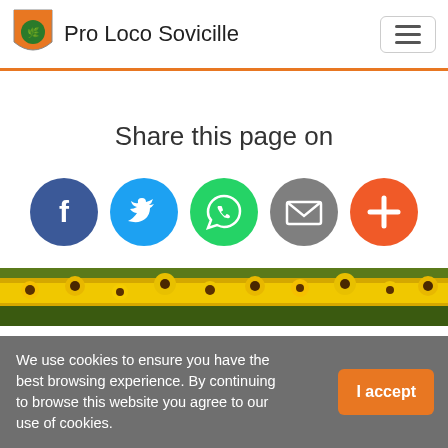Pro Loco Sovicille
Share this page on
[Figure (infographic): Social share buttons: Facebook, Twitter, WhatsApp, Email, More]
[Figure (photo): Sunflower field landscape strip]
We use cookies to ensure you have the best browsing experience. By continuing to browse this website you agree to our use of cookies.